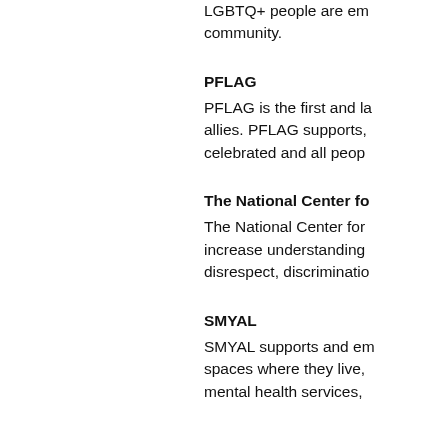LGBTQ+ people are embraced and celebrated in our community.
PFLAG
PFLAG is the first and largest organization for allies. PFLAG supports, celebrated and all people
The National Center fo
The National Center for increase understanding disrespect, discriminatio
SMYAL
SMYAL supports and em spaces where they live, mental health services,